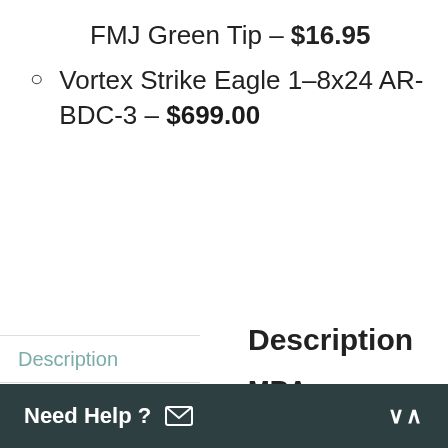FMJ Green Tip – $16.95
Vortex Strike Eagle 1–8x24 AR-BDC-3 – $699.00
Description
Additional information
Reviews
Description
MRA Renegade Rifle Mk II - 223 Wylde - Bolt Action
Need Help ? ✉